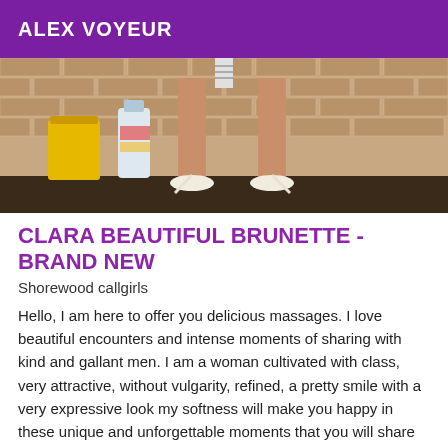ALEX VOYEUR
[Figure (photo): Photo showing the lower legs of a woman wearing white strappy high heels, seated against a brick wall background with a yellow trash can and cleaning supply bottle visible]
CLARA BEAUTIFUL BRUNETTE - BRAND NEW
Shorewood callgirls
Hello, I am here to offer you delicious massages. I love beautiful encounters and intense moments of sharing with kind and gallant men. I am a woman cultivated with class, very attractive, without vulgarity, refined, a pretty smile with a very expressive look my softness will make you happy in these unique and unforgettable moments that you will share with me. I propose you massage sessions of great quality... Hygiene and discretion of